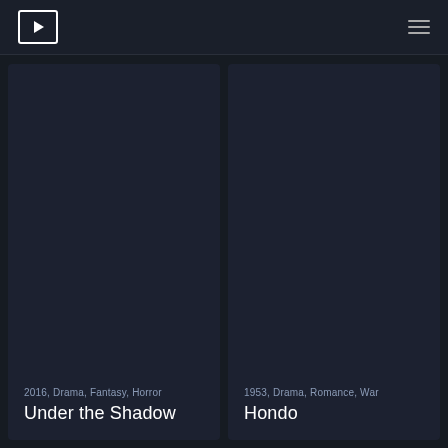TV/movie streaming app header with logo and hamburger menu
[Figure (screenshot): Dark movie card for 'Under the Shadow' (2016, Drama, Fantasy, Horror)]
2016, Drama, Fantasy, Horror
Under the Shadow
[Figure (screenshot): Dark movie card for 'Hondo' (1953, Drama, Romance, War)]
1953, Drama, Romance, War
Hondo